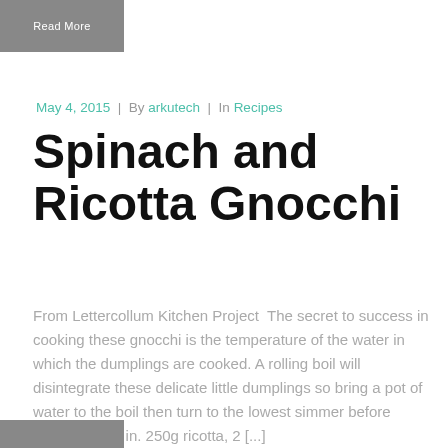Read More
May 4, 2015  |  By arkutech  |  In Recipes
Spinach and Ricotta Gnocchi
From Lettercollum Kitchen Project  The secret to success in cooking these gnocchi is the temperature of the water in which the dumplings are cooked. A rolling boil will disintegrate these delicate little dumplings so bring a pot of water to the boil then turn to the lowest simmer before slipping them in. 250g ricotta, 2 [...]